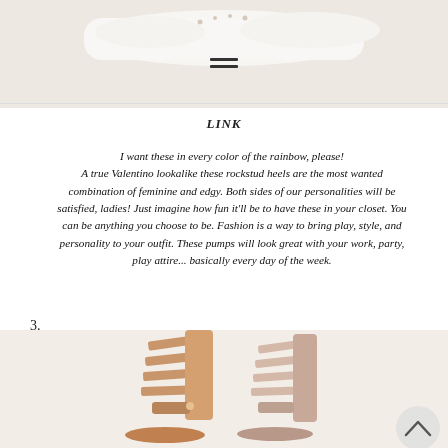[Figure (photo): Top portion of a shoe product photo showing white/cream heels on a light beige background with a hamburger menu icon]
LINK
I want these in every color of the rainbow, please! A true Valentino lookalike these rockstud heels are the most wanted combination of feminine and edgy. Both sides of our personalities will be satisfied, ladies! Just imagine how fun it'll be to have these in your closet. You can be anything you choose to be. Fashion is a way to bring play, style, and personality to your outfit. These pumps will look great with your work, party, play attire... basically every day of the week.
3.
[Figure (photo): Two strappy high-heel sandals side by side — left in rose gold metallic, right in blush/nude — shown from the back/side angle]